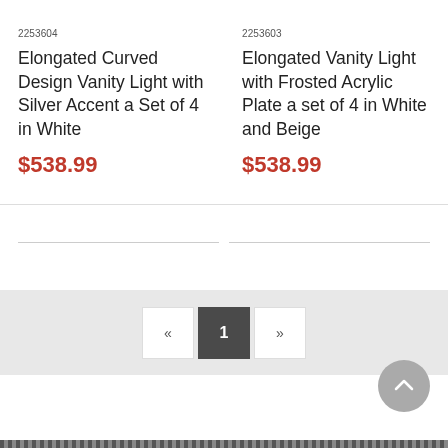2253604
Elongated Curved Design Vanity Light with Silver Accent a Set of 4 in White
$538.99
2253603
Elongated Vanity Light with Frosted Acrylic Plate a set of 4 in White and Beige
$538.99